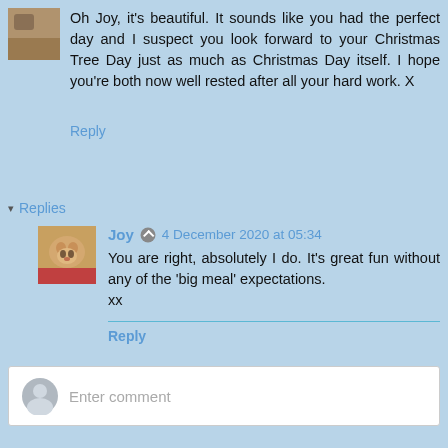Oh Joy, it's beautiful. It sounds like you had the perfect day and I suspect you look forward to your Christmas Tree Day just as much as Christmas Day itself. I hope you're both now well rested after all your hard work. X
Reply
▾ Replies
Joy   4 December 2020 at 05:34
You are right, absolutely I do. It's great fun without any of the 'big meal' expectations.
xx
Reply
Enter comment